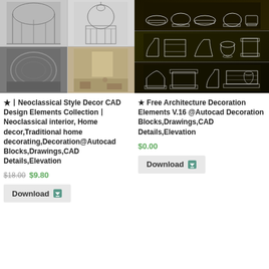[Figure (illustration): Neoclassical Style architecture drawings and interior photos collage - four quadrant image showing architectural sections, building facades, and interior spaces]
★丨Neoclassical Style Decor CAD Design Elements Collection丨Neoclassical interior, Home decor,Traditional home decorating,Decoration@Autocad Blocks,Drawings,CAD Details,Elevation
$18.00 $9.80
Download
[Figure (illustration): Free Architecture Decoration Elements CAD blocks on dark background showing architectural molding and cornice profiles in three rows]
★  Free Architecture Decoration Elements V.16 @Autocad Decoration Blocks,Drawings,CAD Details,Elevation
$0.00
Download